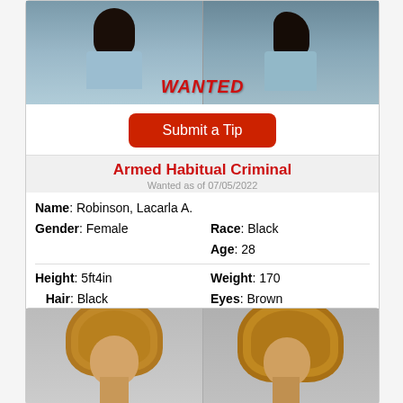[Figure (photo): Two mugshot photos (front and side profile) of a Black female subject wearing a light blue top, with WANTED text overlay in red italic]
Submit a Tip
Armed Habitual Criminal
Wanted as of 07/05/2022
Name: Robinson, Lacarla A.
Gender: Female
Race: Black
Age: 28
Height: 5ft4in
Weight: 170
Hair: Black
Eyes: Brown
Last Known Address: 2004 Vawter St., Apt. #11, Urbana, IL
[Figure (photo): Two mugshot photos (front and side profile) of a subject with curly blonde/reddish hair]